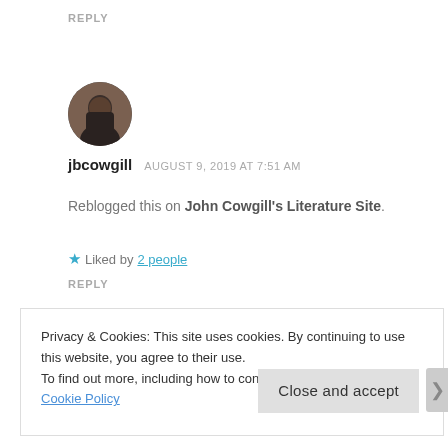REPLY
[Figure (photo): Circular avatar photo of a person wearing a dark jacket, brown warm-toned background]
jbcowgill   AUGUST 9, 2019 AT 7:51 AM
Reblogged this on John Cowgill's Literature Site.
★ Liked by 2 people
REPLY
Privacy & Cookies: This site uses cookies. By continuing to use this website, you agree to their use.
To find out more, including how to control cookies, see here: Cookie Policy
Close and accept